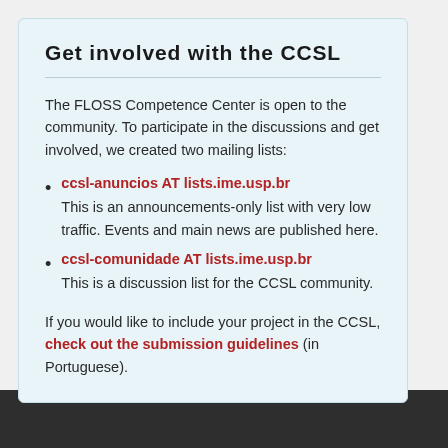Get involved with the CCSL
The FLOSS Competence Center is open to the community. To participate in the discussions and get involved, we created two mailing lists:
ccsl-anuncios AT lists.ime.usp.br — This is an announcements-only list with very low traffic. Events and main news are published here.
ccsl-comunidade AT lists.ime.usp.br — This is a discussion list for the CCSL community.
If you would like to include your project in the CCSL, check out the submission guidelines (in Portuguese).